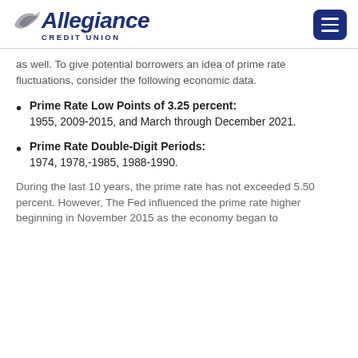Allegiance Credit Union
as well. To give potential borrowers an idea of prime rate fluctuations, consider the following economic data.
Prime Rate Low Points of 3.25 percent: 1955, 2009-2015, and March through December 2021.
Prime Rate Double-Digit Periods: 1974, 1978,-1985, 1988-1990.
During the last 10 years, the prime rate has not exceeded 5.50 percent. However, The Fed influenced the prime rate higher beginning in November 2015 as the economy began to